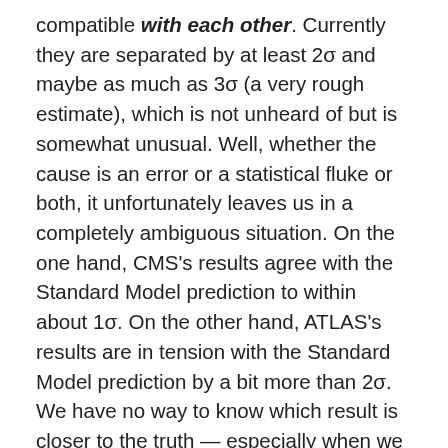compatible with each other. Currently they are separated by at least 2σ and maybe as much as 3σ (a very rough estimate), which is not unheard of but is somewhat unusual. Well, whether the cause is an error or a statistical fluke or both, it unfortunately leaves us in a completely ambiguous situation. On the one hand, CMS's results agree with the Standard Model prediction to within about 1σ. On the other hand, ATLAS's results are in tension with the Standard Model prediction by a bit more than 2σ. We have no way to know which result is closer to the truth — especially when we recall that the uncertainty in the Standard Model prediction is itself about 20%. If ATLAS and CMS had both closely agreed with the Standard Model we'd be confident that any deviations from the Standard Model are too small to observe; if they both significantly disagreed in the same way, we'd be excited